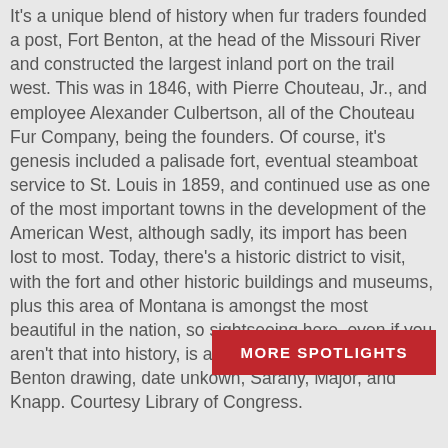It's a unique blend of history when fur traders founded a post, Fort Benton, at the head of the Missouri River and constructed the largest inland port on the trail west. This was in 1846, with Pierre Chouteau, Jr., and employee Alexander Culbertson, all of the Chouteau Fur Company, being the founders. Of course, it's genesis included a palisade fort, eventual steamboat service to St. Louis in 1859, and continued use as one of the most important towns in the development of the American West, although sadly, its import has been lost to most. Today, there's a historic district to visit, with the fort and other historic buildings and museums, plus this area of Montana is amongst the most beautiful in the nation, so sightseeing here, even if you aren't that into history, is a treat. Photo above: Fort Benton drawing, date unkown, Sarany, Major, and Knapp. Courtesy Library of Congress.
MORE SPOTLIGHTS